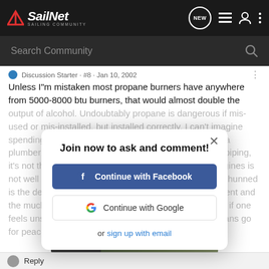SailNet SAILING COMMUNITY
Search Community
Discussion Starter · #8 · Jan 10, 2002
Unless I"m mistaken most propane burners have anywhere from 5000-8000 btu burners, that would almost double the output of alcohol. Undoubtably propane is dangerous if mis-used or mis-installed, but installed correctly, I can't imagine spending time chasing leaks. I worked for 15 years as a plumber and installed many miles of gas and propane piping, it's not that difficult to do it well. The analogy to gas engines is not well founded as other reasons the gas engine are shunned is the delicacy of the ignition system in a salt environment and the much shorter range per gallon. Those points aside, if one feels unsafe or unsure of a particular system by all means go for peace of mind.
Join now to ask and comment!
Continue with Facebook
Continue with Google
or sign up with email
[Figure (photo): Chevrolet Silverado 2022 advertisement banner showing truck in outdoor setting with Chevrolet logo]
Reply